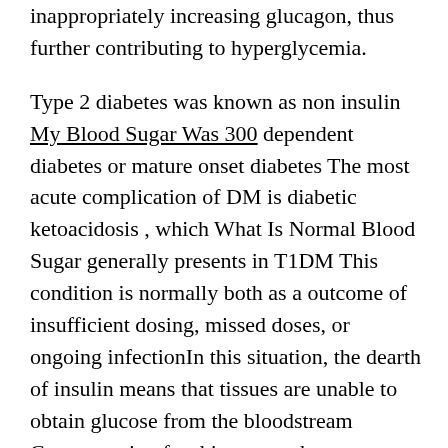inappropriately increasing glucagon, thus further contributing to hyperglycemia.
Type 2 diabetes was known as non insulin My Blood Sugar Was 300 dependent diabetes or mature onset diabetes The most acute complication of DM is diabetic ketoacidosis , which What Is Normal Blood Sugar generally presents in T1DM This condition is normally both as a outcome of insufficient dosing, missed doses, or ongoing infectionIn this situation, the dearth of insulin means that tissues are unable to obtain glucose from the bloodstream Compensation for this causes the metabolism of lipids into ketones in its place vitality supply, which causes systemic acidosis, and could be calculated as a excessive anion gap metabolic acidosis The mixture of hyperglycemia and ketosis causes diuresis,